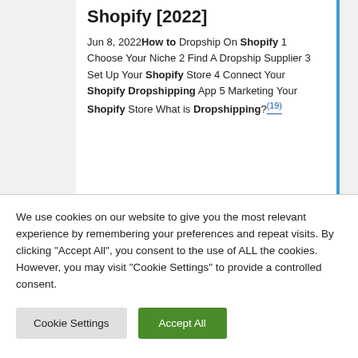Shopify [2022]
Jun 8, 2022 How to Dropship On Shopify 1 Choose Your Niche 2 Find A Dropship Supplier 3 Set Up Your Shopify Store 4 Connect Your Shopify Dropshipping App 5 Marketing Your Shopify Store What is Dropshipping?(19)
We use cookies on our website to give you the most relevant experience by remembering your preferences and repeat visits. By clicking "Accept All", you consent to the use of ALL the cookies. However, you may visit "Cookie Settings" to provide a controlled consent.